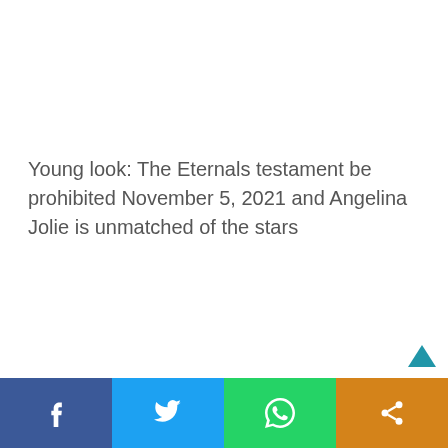Young look: The Eternals testament be prohibited November 5, 2021 and Angelina Jolie is unmatched of the stars
[Figure (other): Social media share bar at the bottom with Facebook (blue), Twitter (light blue), WhatsApp (green), and Share (orange) buttons]